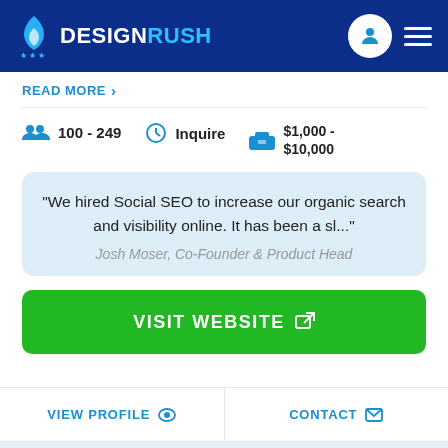DESIGNRUSH
READ MORE
100 - 249 | Inquire | $1,000 - $10,000
"We hired Social SEO to increase our organic search and visibility online. It has been a sl..." Josh Moser, Co-Founder & Product Head
VISIT WEBSITE
VIEW PROFILE
CONTACT